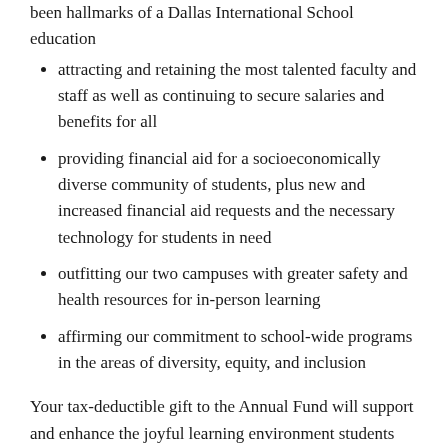been hallmarks of a Dallas International School education
attracting and retaining the most talented faculty and staff as well as continuing to secure salaries and benefits for all
providing financial aid for a socioeconomically diverse community of students, plus new and increased financial aid requests and the necessary technology for students in need
outfitting our two campuses with greater safety and health resources for in-person learning
affirming our commitment to school-wide programs in the areas of diversity, equity, and inclusion
Your tax-deductible gift to the Annual Fund will support and enhance the joyful learning environment students experience each day. Every donation, large or small, is essential and greatly appreciated.